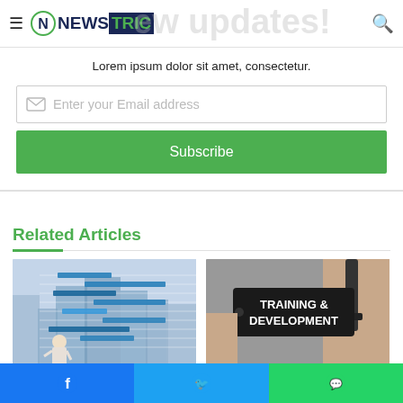NewsTric
Lorem ipsum dolor sit amet, consectetur.
Enter your Email address
Subscribe
Related Articles
[Figure (photo): Person standing in front of a large Gantt chart / project schedule on glass]
[Figure (photo): Hands holding scissors near a tag reading TRAINING & DEVELOPMENT]
Facebook | Twitter | WhatsApp social share bar